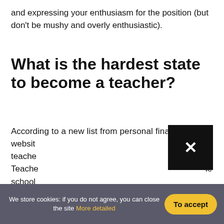and expressing your enthusiasm for the position (but don't be mushy and overly enthusiastic).
What is the hardest state to become a teacher?
According to a new list from personal finance website [obscured] for teachers [obscured] rst. Teachers [obscured] le school
Can
We store cookies: if you do not agree, you can close the site More detailed